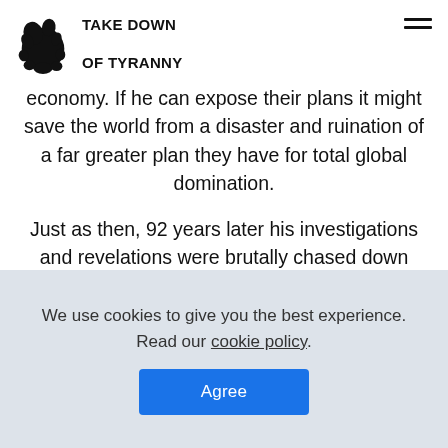TAKE DOWN OF TYRANNY
economy. If he can expose their plans it might save the world from a disaster and ruination of a far greater plan they have for total global domination.
Just as then, 92 years later his investigations and revelations were brutally chased down and attempted extermination and hiding of truths, from the people, that would reveal the iniquity, chicanery and deception being played
We use cookies to give you the best experience. Read our cookie policy.
Agree